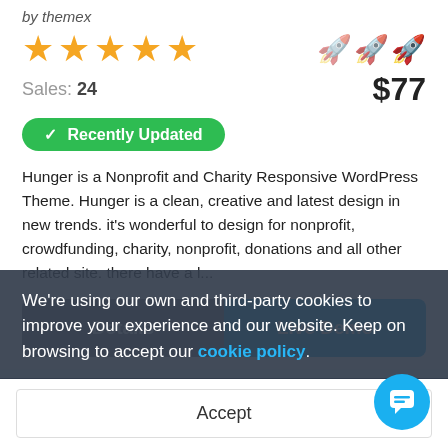by themex
[Figure (illustration): Five orange/gold star rating icons and three rocket emoji icons on the right]
Sales: 24   $77
✓ Recently Updated
Hunger is a Nonprofit and Charity Responsive WordPress Theme. Hunger is a clean, creative and latest design in new trends. it's wonderful to design for nonprofit, crowdfunding, charity, nonprofit, donations and all other related site. there have a l...
Details   Live Demo
We're using our own and third-party cookies to improve your experience and our website. Keep on browsing to accept our cookie policy.
Accept
We Help Fellow The